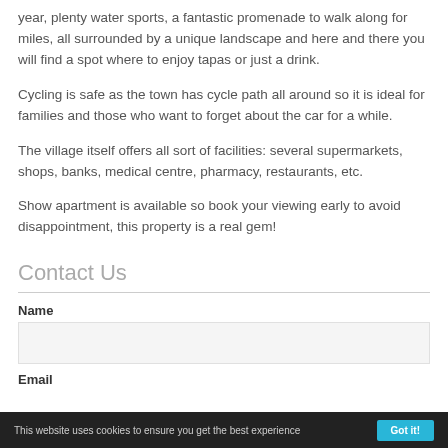year, plenty water sports, a fantastic promenade to walk along for miles, all surrounded by a unique landscape and here and there you will find a spot where to enjoy tapas or just a drink.
Cycling is safe as the town has cycle path all around so it is ideal for families and those who want to forget about the car for a while.
The village itself offers all sort of facilities: several supermarkets, shops, banks, medical centre, pharmacy, restaurants, etc.
Show apartment is available so book your viewing early to avoid disappointment, this property is a real gem!
Contact Us
Name
Email
This website uses cookies to ensure you get the best experience...